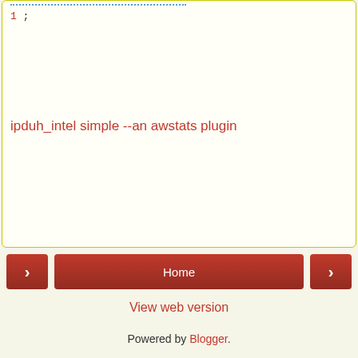1 ;
ipduh_intel simple --an awstats plugin
< Home >
View web version
Powered by Blogger.